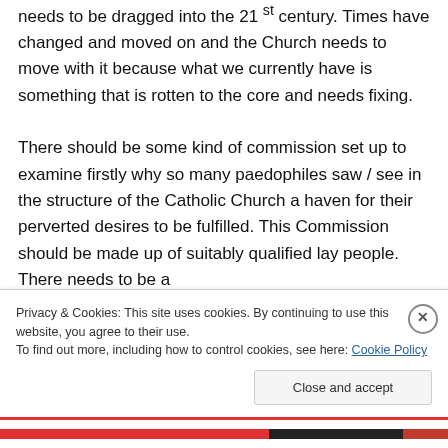needs to be dragged into the 21 st century. Times have changed and moved on and the Church needs to move with it because what we currently have is something that is rotten to the core and needs fixing. There should be some kind of commission set up to examine firstly why so many paedophiles saw / see in the structure of the Catholic Church a haven for their perverted desires to be fulfilled. This Commission should be made up of suitably qualified lay people. There needs to be a
Privacy & Cookies: This site uses cookies. By continuing to use this website, you agree to their use.
To find out more, including how to control cookies, see here: Cookie Policy
Close and accept